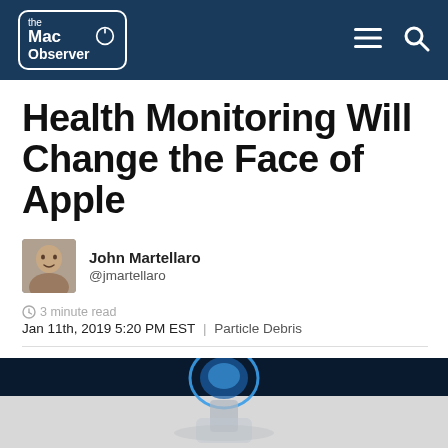the Mac Observer
Health Monitoring Will Change the Face of Apple
John Martellaro
@jmartellaro
3 minute read
Jan 11th, 2019 5:20 PM EST | Particle Debris
[Figure (illustration): A blue glowing human head/brain illustration on a dark background, showing a futuristic health monitoring concept]